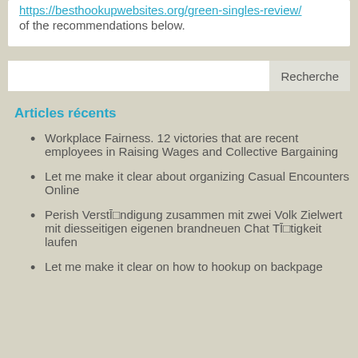https://besthookupwebsites.org/green-singles-review/ of the recommendations below.
Recherche
Articles récents
Workplace Fairness. 12 victories that are recent employees in Raising Wages and Collective Bargaining
Let me make it clear about organizing Casual Encounters Online
Perish VerstĪ□ndigung zusammen mit zwei Volk Zielwert mit diesseitigen eigenen brandneuen Chat TĪ□tigkeit laufen
Let me make it clear on how to hookup on backpage